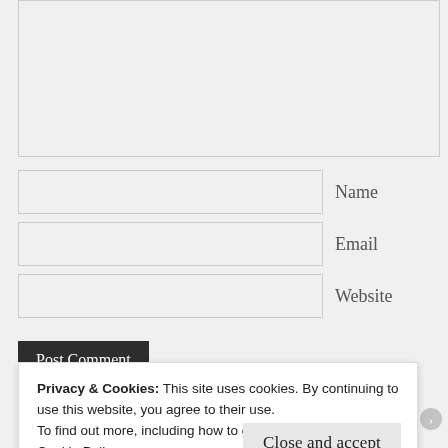[Figure (screenshot): Textarea input box for comment, shown as a gray rectangle]
Name
Email
Website
Post Comment
Privacy & Cookies: This site uses cookies. By continuing to use this website, you agree to their use.
To find out more, including how to control cookies, see here: Cookie Policy
Close and accept